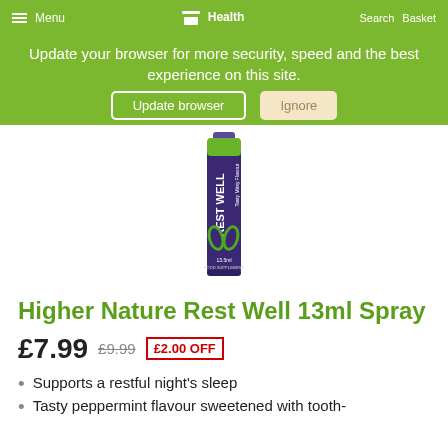Menu | Pharmacy Health | Search | Basket
Update your browser for more security, speed and the best experience on this site.
Update browser | Ignore
[Figure (photo): Product photo of Higher Nature Rest Well 13ml Spray bottle - a tall narrow cylindrical dark purple spray bottle with green leaf design and white 'REST WELL' text, 13.5ml food supplement]
Higher Nature Rest Well 13ml Spray
£7.99 £9.99 £2.00 OFF
Supports a restful night's sleep
Tasty peppermint flavour sweetened with tooth-